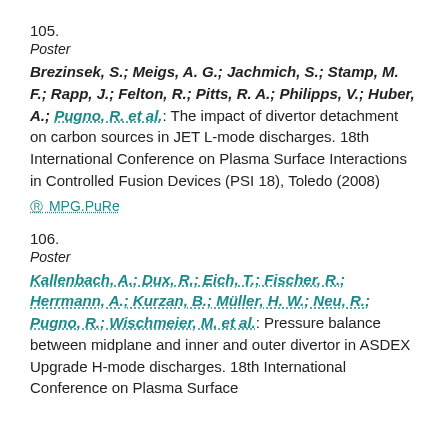105.
Poster
Brezinsek, S.; Meigs, A. G.; Jachmich, S.; Stamp, M. F.; Rapp, J.; Felton, R.; Pitts, R. A.; Philipps, V.; Huber, A.; Pugno, R. et al.: The impact of divertor detachment on carbon sources in JET L-mode discharges. 18th International Conference on Plasma Surface Interactions in Controlled Fusion Devices (PSI 18), Toledo (2008)
⊙ MPG.PuRe
106.
Poster
Kallenbach, A.; Dux, R.; Eich, T.; Fischer, R.; Herrmann, A.; Kurzan, B.; Müller, H. W.; Neu, R.; Pugno, R.; Wischmeier, M. et al.: Pressure balance between midplane and inner and outer divertor in ASDEX Upgrade H-mode discharges. 18th International Conference on Plasma Surface